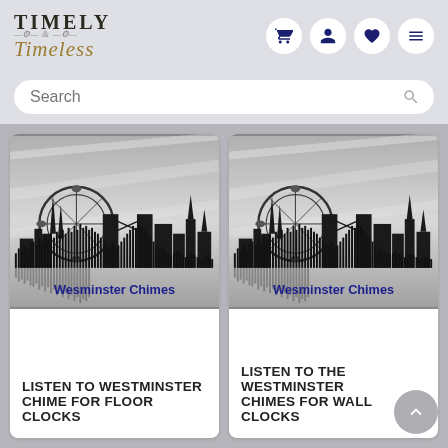[Figure (logo): Timely & Timeless logo with decorative clock/arrow ornament between the two words]
[Figure (infographic): Navigation icons: shopping cart, person/account, heart/wishlist, hamburger menu — white circles on light grey header]
[Figure (screenshot): Search bar with placeholder text 'Search' and magnifier icon on right]
[Figure (photo): Westminster Chimes product card image: London skyline silhouette in black on grey/silver background with sound waveform bars and text 'Wesminster Chimes' in blue]
LISTEN TO WESTMINSTER CHIME FOR FLOOR CLOCKS
[Figure (photo): Westminster Chimes product card image (wall clocks): same London skyline silhouette with waveform and 'Wesminster Chimes' label]
LISTEN TO THE WESTMINSTER CHIMES FOR WALL CLOCKS